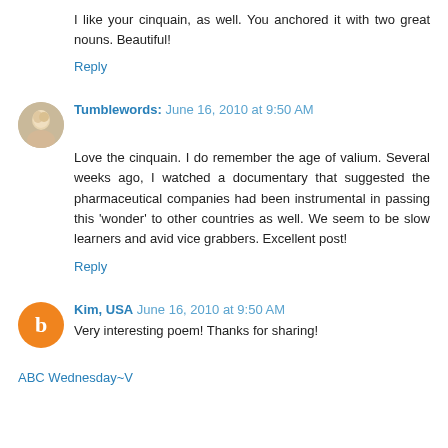I like your cinquain, as well. You anchored it with two great nouns. Beautiful!
Reply
Tumblewords: June 16, 2010 at 9:50 AM
Love the cinquain. I do remember the age of valium. Several weeks ago, I watched a documentary that suggested the pharmaceutical companies had been instrumental in passing this 'wonder' to other countries as well. We seem to be slow learners and avid vice grabbers. Excellent post!
Reply
Kim, USA June 16, 2010 at 9:50 AM
Very interesting poem! Thanks for sharing!
ABC Wednesday~V